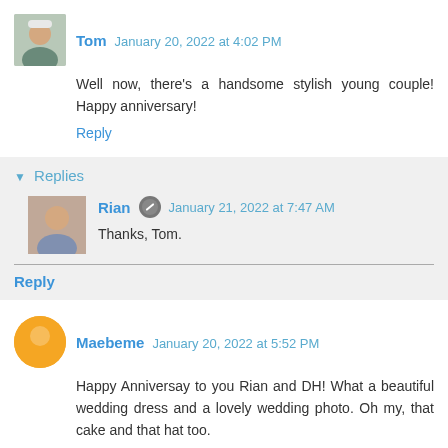Tom  January 20, 2022 at 4:02 PM
Well now, there's a handsome stylish young couple! Happy anniversary!
Reply
Replies
Rian  January 21, 2022 at 7:47 AM
Thanks, Tom.
Reply
Maebeme  January 20, 2022 at 5:52 PM
Happy Anniversay to you Rian and DH! What a beautiful wedding dress and a lovely wedding photo. Oh my, that cake and that hat too.
You have much to be proud of, including your family and